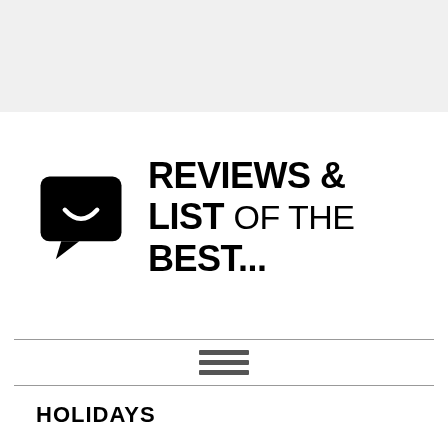[Figure (logo): Website logo: a black speech bubble icon with a smile curve inside, followed by bold uppercase text 'REVIEWS & LIST of the BEST...']
[Figure (infographic): Hamburger menu icon (three horizontal bars) centered between two horizontal divider lines]
HOLIDAYS